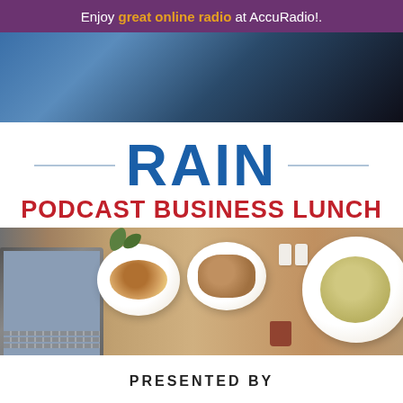Enjoy great online radio at AccuRadio!.
[Figure (photo): Top photo showing a person, dark and blue tones, partially cropped]
RAIN
PODCAST BUSINESS LUNCH
[Figure (photo): Overhead photo of lunch table with bowls of food, bread, soup, and a laptop]
PRESENTED BY